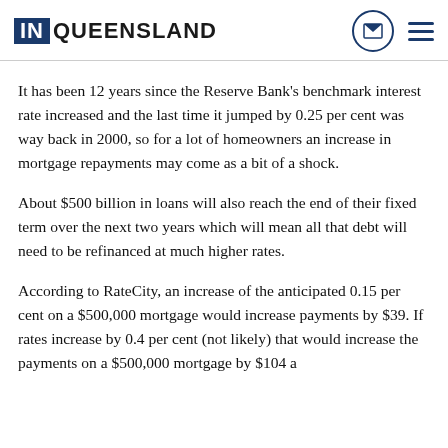IN QUEENSLAND
It has been 12 years since the Reserve Bank’s benchmark interest rate increased and the last time it jumped by 0.25 per cent was way back in 2000, so for a lot of homeowners an increase in mortgage repayments may come as a bit of a shock.
About $500 billion in loans will also reach the end of their fixed term over the next two years which will mean all that debt will need to be refinanced at much higher rates.
According to RateCity, an increase of the anticipated 0.15 per cent on a $500,000 mortgage would increase payments by $39. If rates increase by 0.4 per cent (not likely) that would increase the payments on a $500,000 mortgage by $104 a